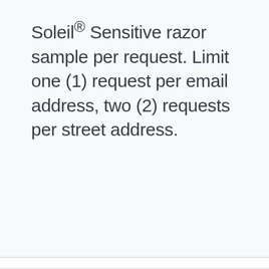Soleil® Sensitive razor sample per request. Limit one (1) request per email address, two (2) requests per street address.